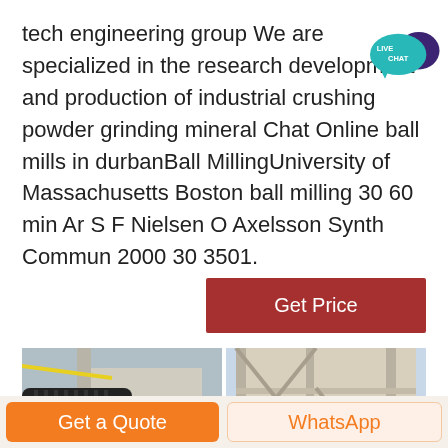tech engineering group We are specialized in the research development and production of industrial crushing powder grinding mineral Chat Online ball mills in durbanBall MillingUniversity of Massachusetts Boston ball milling 30 60 min Ar S F Nielsen O Axelsson Synth Commun 2000 30 3501.
[Figure (illustration): Live Chat badge icon — teal speech bubble with 'LIVE CHAT' text and dark purple decorative speech bubble]
[Figure (photo): Two side-by-side industrial photos: left shows a black electric motor and crusher machinery; right shows industrial hopper/conveyor structure]
Get Price
Get a Quote
WhatsApp